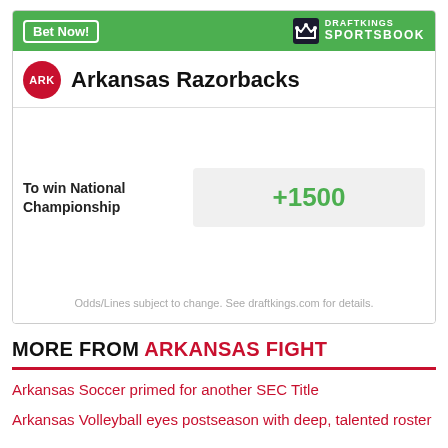[Figure (other): DraftKings Sportsbook betting card for Arkansas Razorbacks showing odds to win National Championship at +1500]
MORE FROM ARKANSAS FIGHT
Arkansas Soccer primed for another SEC Title
Arkansas Volleyball eyes postseason with deep, talented roster